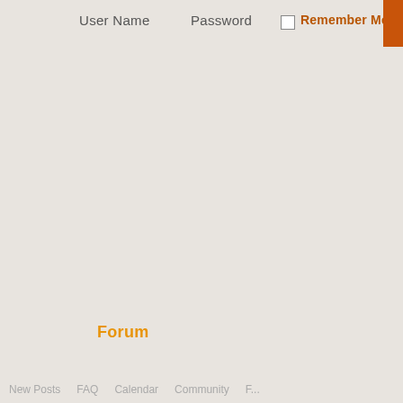User Name   Password   Remember Me?
Forum
New Posts   FAQ   Calendar   Community   F...